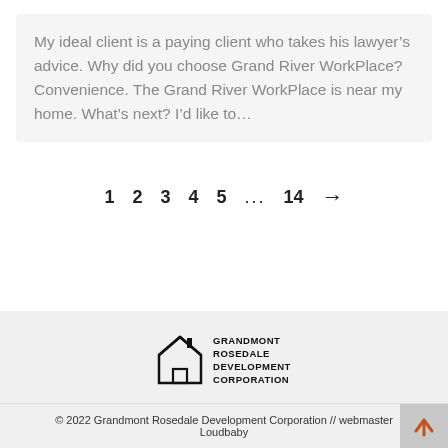My ideal client is a paying client who takes his lawyer's advice. Why did you choose Grand River WorkPlace? Convenience. The Grand River WorkPlace is near my home. What's next? I'd like to…
1   2   3   4   5   ...   14   →
[Figure (logo): Grandmont Rosedale Development Corporation logo: house outline icon with text 'GRANDMONT ROSEDALE DEVELOPMENT CORPORATION']
© 2022 Grandmont Rosedale Development Corporation // webmaster Loudbaby